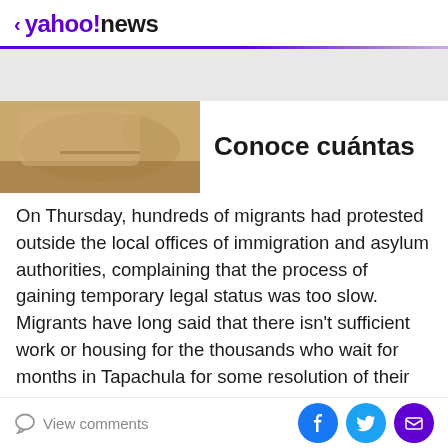< yahoo!news
[Figure (photo): Partial view of a car interior with beige/tan tones, next to article title 'Conoce cuántas']
On Thursday, hundreds of migrants had protested outside the local offices of immigration and asylum authorities, complaining that the process of gaining temporary legal status was too slow. Migrants have long said that there isn't sufficient work or housing for the thousands who wait for months in Tapachula for some resolution of their status.
Many incur debts to migrate and anything that delays
View comments